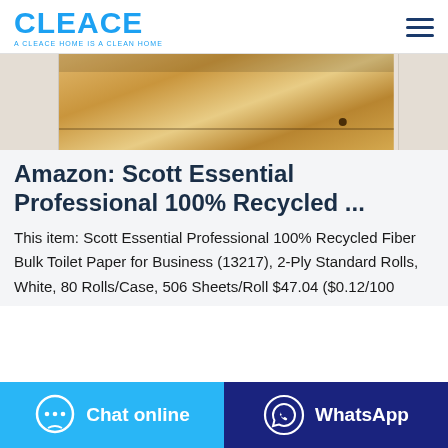CLEACE — A CLEACE HOME IS A CLEAN HOME
[Figure (photo): Partial photo of a wooden drawer/cabinet furniture piece, showing wood grain texture and a dark knob, cropped from a product listing page.]
Amazon: Scott Essential Professional 100% Recycled ...
This item: Scott Essential Professional 100% Recycled Fiber Bulk Toilet Paper for Business (13217), 2-Ply Standard Rolls, White, 80 Rolls/Case, 506 Sheets/Roll $47.04 ($0.12/100
Chat online
WhatsApp